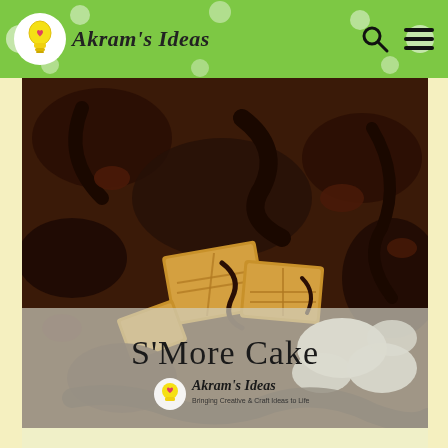Akram's Ideas
[Figure (photo): Close-up photo of S'More Cake showing chocolate drizzle, graham cracker pieces, and marshmallows with dark chocolate cake crumbles]
S'More Cake
[Figure (logo): Akram's Ideas logo - yellow lightbulb with heart, italic script text, tagline: Bringing Creative & Craft Ideas to Life]